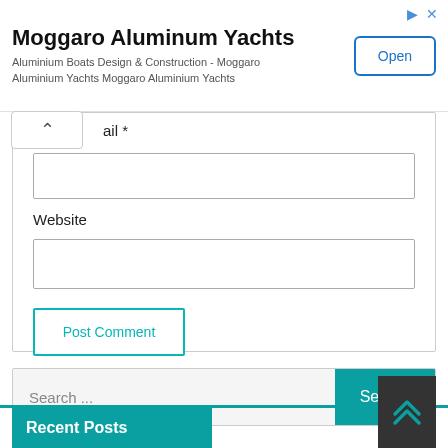[Figure (screenshot): Advertisement banner for Moggaro Aluminum Yachts with Open button]
ail *
Website
Post Comment
Search ...
Recent Posts